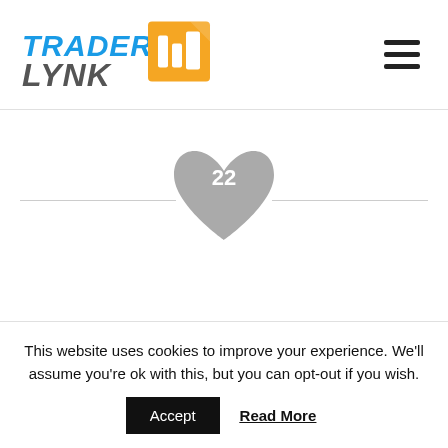[Figure (logo): TraderLynk logo with blue and gray text and orange graphic element]
[Figure (infographic): Heart shape icon with number 22 inside, gray colored, with horizontal lines on both sides]
[Figure (infographic): Tweet button with Twitter bird icon in blue rounded pill shape]
This website uses cookies to improve your experience. We'll assume you're ok with this, but you can opt-out if you wish.
Accept
Read More